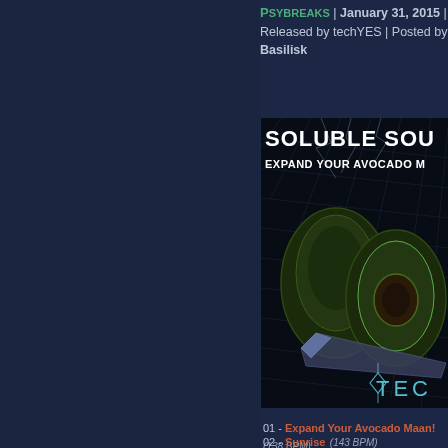Psybreaks | January 31, 2015 | Released by techYES | Posted by Basilisk
[Figure (illustration): Album cover for 'Soluble Soul' showing stylized avocados on dark mesh background with text 'SOLUBLE SOU...' and 'EXPAND YOUR AVOCADO M...' and 'TEC...' at bottom]
01 - Expand Your Avocado Maan! (138 BPM)
02 - Sunrise (143 BPM)
03 - Wet Tuna Squeeze (138...